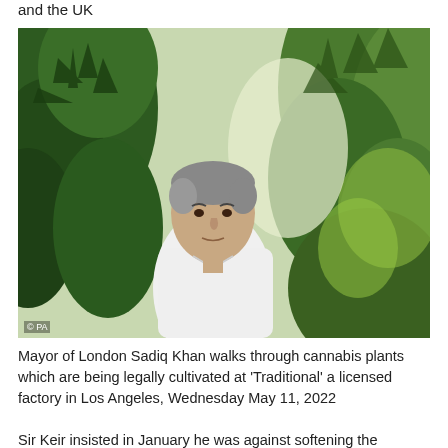and the UK
[Figure (photo): Mayor of London Sadiq Khan standing among cannabis plants at a licensed cultivation facility called 'Traditional' in Los Angeles. The photo shows him in a white shirt surrounded by tall green cannabis plants. Photo credit: © PA]
Mayor of London Sadiq Khan walks through cannabis plants which are being legally cultivated at 'Traditional' a licensed factory in Los Angeles, Wednesday May 11, 2022
Sir Keir insisted in January he was against softening the